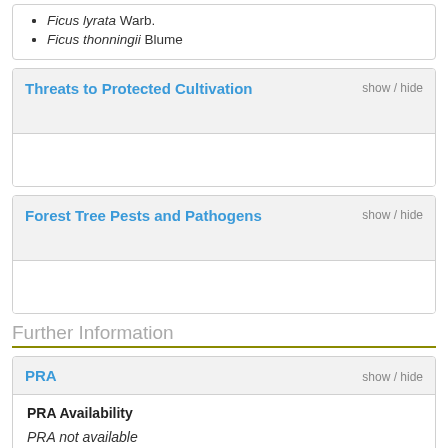Ficus lyrata Warb.
Ficus thonningii Blume
Threats to Protected Cultivation
Forest Tree Pests and Pathogens
Further Information
PRA
PRA Availability
PRA not available